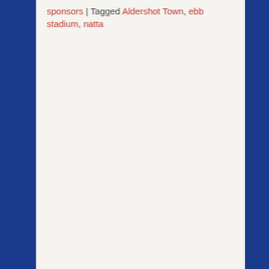sponsors | Tagged Aldershot Town, ebb stadium, natta